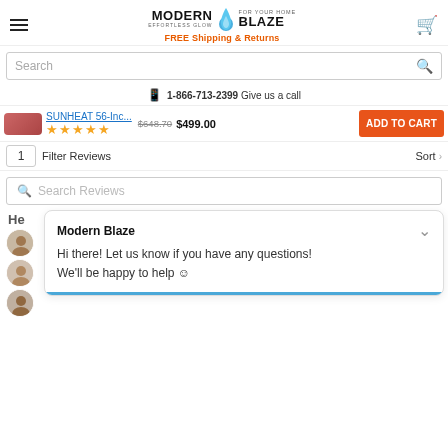Modern Blaze — For Your Home | Effortless Glow | FREE Shipping & Returns
Search
1-866-713-2399 Give us a call
SUNHEAT 56-Inc... $648.70 $499.00 ADD TO CART ★★★★★
1 Filter Reviews Sort
Search Reviews
Modern Blaze
Hi there! Let us know if you have any questions!
We'll be happy to help ☺